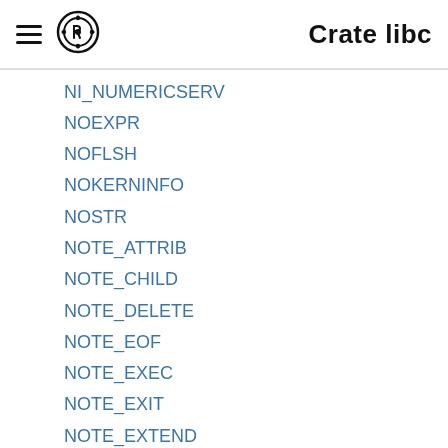Crate libc
NI_NUMERICSERV
NOEXPR
NOFLSH
NOKERNINFO
NOSTR
NOTE_ATTRIB
NOTE_CHILD
NOTE_DELETE
NOTE_EOF
NOTE_EXEC
NOTE_EXIT
NOTE_EXTEND
NOTE_FORK
NOTE_LINK
NOTE_LOWAT
NOTE_PCTRLMASK